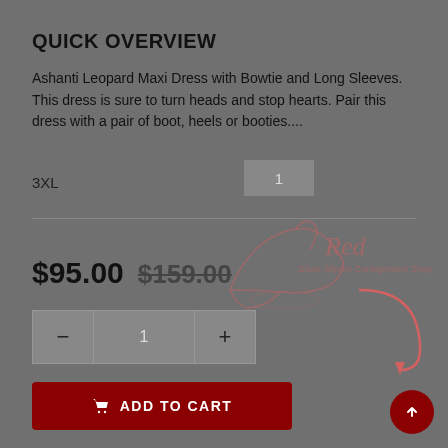QUICK OVERVIEW
Ashanti Leopard Maxi Dress with Bowtie and Long Sleeves. This dress is sure to turn heads and stop hearts. Pair this dress with a pair of boot, heels or booties....
3XL
[Figure (logo): Red Glass Slipper Consignment Shop watermark logo with high heel shoe illustration]
$95.00 $159.00
Quantity stepper: minus button, 1, plus button
ADD TO CART button